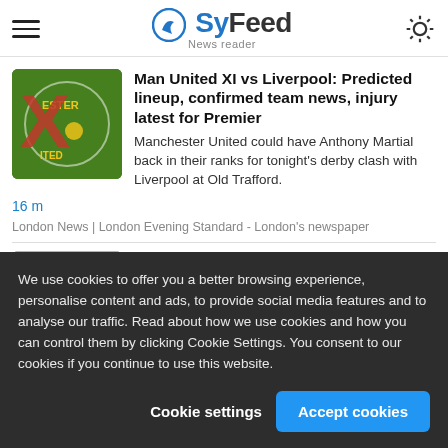SyFeed News reader
Man United XI vs Liverpool: Predicted lineup, confirmed team news, injury latest for Premier
Manchester United could have Anthony Martial back in their ranks for tonight's derby clash with Liverpool at Old Trafford.
16 m
London News | London Evening Standard - London's newspaper
EasyJet rejects compensation claim from
We use cookies to offer you a better browsing experience, personalise content and ads, to provide social media features and to analyse our traffic. Read about how we use cookies and how you can control them by clicking Cookie Settings. You consent to our cookies if you continue to use this website.
Cookie settings
Accept cookies